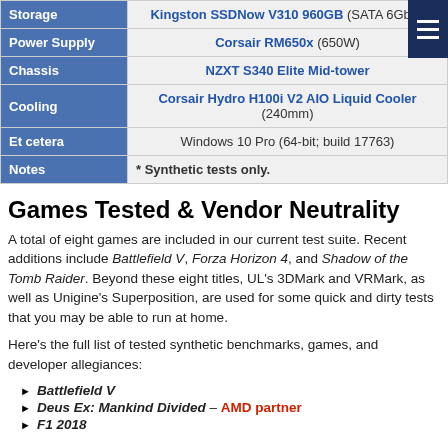| Category | Value |
| --- | --- |
| Storage | Kingston SSDNow V310 960GB (SATA 6Gbps |
| Power Supply | Corsair RM650x (650W) |
| Chassis | NZXT S340 Elite Mid-tower |
| Cooling | Corsair Hydro H100i V2 AIO Liquid Cooler (240mm) |
| Et cetera | Windows 10 Pro (64-bit; build 17763) |
| Notes | * Synthetic tests only. |
Games Tested & Vendor Neutrality
A total of eight games are included in our current test suite. Recent additions include Battlefield V, Forza Horizon 4, and Shadow of the Tomb Raider. Beyond these eight titles, UL's 3DMark and VRMark, as well as Unigine's Superposition, are used for some quick and dirty tests that you may be able to run at home.
Here's the full list of tested synthetic benchmarks, games, and developer allegiances:
Battlefield V
Deus Ex: Mankind Divided – AMD partner
F1 2018